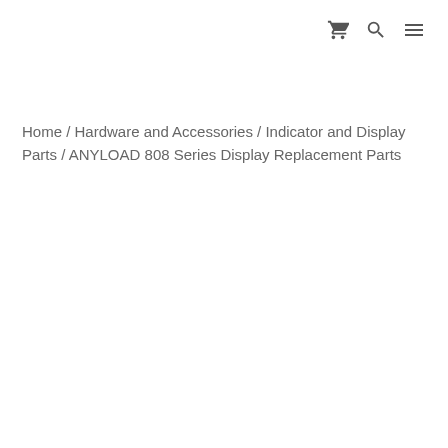[cart icon] [search icon] [menu icon]
Home / Hardware and Accessories / Indicator and Display Parts / ANYLOAD 808 Series Display Replacement Parts